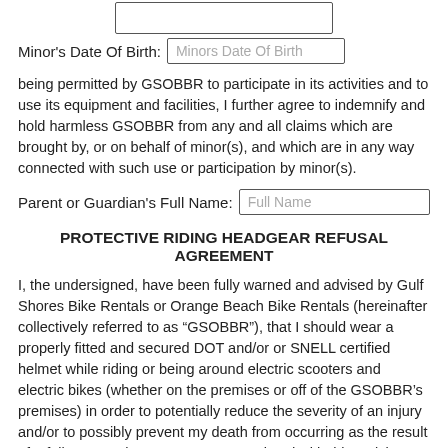Minor's Date Of Birth: [Minors Date Of Birth]
being permitted by GSOBBR to participate in its activities and to use its equipment and facilities, I further agree to indemnify and hold harmless GSOBBR from any and all claims which are brought by, or on behalf of minor(s), and which are in any way connected with such use or participation by minor(s).
Parent or Guardian's Full Name: [Full Name]
PROTECTIVE RIDING HEADGEAR REFUSAL AGREEMENT
I, the undersigned, have been fully warned and advised by Gulf Shores Bike Rentals or Orange Beach Bike Rentals (hereinafter collectively referred to as “GSOBBR”), that I should wear a properly fitted and secured DOT and/or or SNELL certified helmet while riding or being around electric scooters and electric bikes (whether on the premises or off of the GSOBBR’s premises) in order to potentially reduce the severity of an injury and/or to possibly prevent my death from occurring as the result of a fall or any other occurrence associated with this activity. I understand that by not wearing a helmet, I will be going against manufacturers’